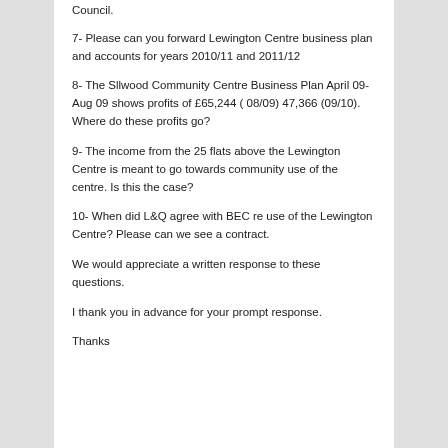Council.
7- Please can you forward Lewington Centre business plan and accounts for years 2010/11 and 2011/12
8- The Sllwood Community Centre Business Plan April 09-Aug 09 shows profits of £65,244 ( 08/09) 47,366 (09/10). Where do these profits go?
9- The income from the 25 flats above the Lewington Centre is meant to go towards community use of the centre. Is this the case?
10- When did L&Q agree with BEC re use of the Lewington Centre? Please can we see a contract.
We would appreciate a written response to these questions.
I thank you in advance for your prompt response.
Thanks